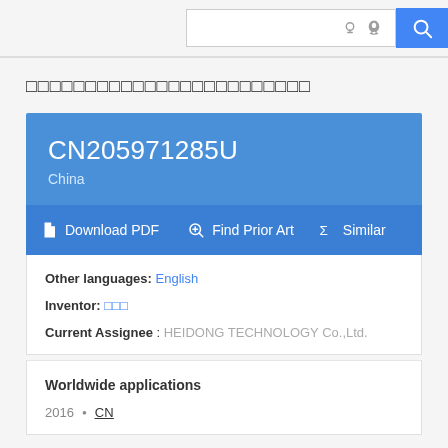[Figure (screenshot): Google Patents search bar with lightbulb icon, graduation cap icon, and blue search button with magnifying glass icon]
□□□□□□□□□□□□□□□□□□□□□□□□
CN205971285U
China
Download PDF   Find Prior Art   Similar
Other languages: English
Inventor: □□□
Current Assignee : HEIDONG TECHNOLOGY Co.,Ltd.
Worldwide applications
2016 · CN